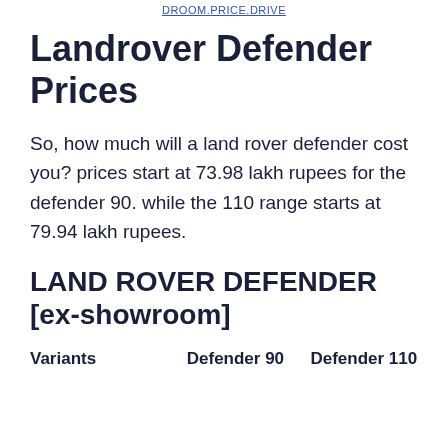DROOM.PRICE.DRIVE
Landrover Defender Prices
So, how much will a land rover defender cost you? prices start at 73.98 lakh rupees for the defender 90. while the 110 range starts at 79.94 lakh rupees.
LAND ROVER DEFENDER [ex-showroom]
| Variants | Defender 90 | Defender 110 |
| --- | --- | --- |